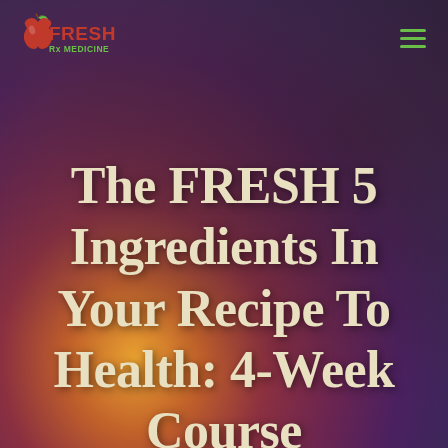[Figure (logo): Fresh Rx Medicine logo with apple/leaf icon in red and green, text 'FRESH' in red bold uppercase and 'Rx MEDICINE' in green]
The FRESH 5 Ingredients In Your Recipe To Health: 4-Week Course